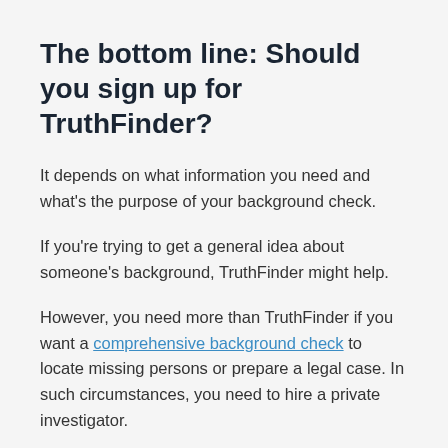The bottom line: Should you sign up for TruthFinder?
It depends on what information you need and what's the purpose of your background check.
If you're trying to get a general idea about someone's background, TruthFinder might help.
However, you need more than TruthFinder if you want a comprehensive background check to locate missing persons or prepare a legal case. In such circumstances, you need to hire a private investigator.
Private investigator firms have access to a much wider pool of resources than an online search engine. In addition, they have the expertise to interpret the data.